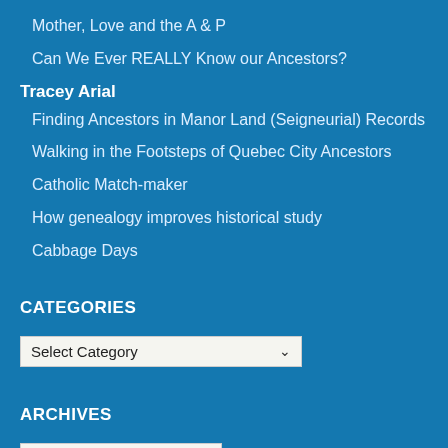Mother, Love and the A & P
Can We Ever REALLY Know our Ancestors?
Tracey Arial
Finding Ancestors in Manor Land (Seigneurial) Records
Walking in the Footsteps of Quebec City Ancestors
Catholic Match-maker
How genealogy improves historical study
Cabbage Days
CATEGORIES
Select Category
ARCHIVES
Select Month